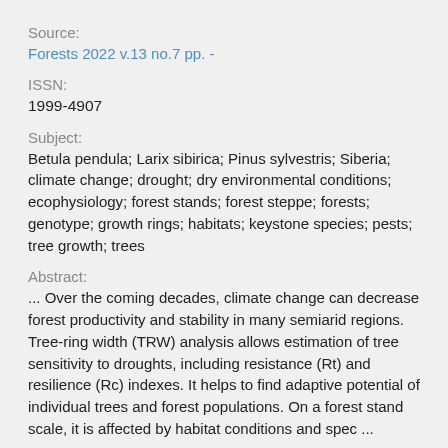Source:
Forests 2022 v.13 no.7 pp. -
ISSN:
1999-4907
Subject:
Betula pendula; Larix sibirica; Pinus sylvestris; Siberia; climate change; drought; dry environmental conditions; ecophysiology; forest stands; forest steppe; forests; genotype; growth rings; habitats; keystone species; pests; tree growth; trees
Abstract:
... Over the coming decades, climate change can decrease forest productivity and stability in many semiarid regions. Tree-ring width (TRW) analysis allows estimation of tree sensitivity to droughts, including resistance (Rt) and resilience (Rc) indexes. It helps to find adaptive potential of individual trees and forest populations. On a forest stand scale, it is affected by habitat conditions and spec ...